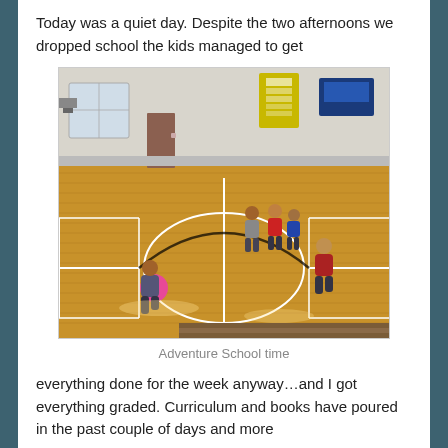Today was a quiet day. Despite the two afternoons we dropped school the kids managed to get
[Figure (photo): Children playing in a gymnasium with a wooden basketball court floor. One child in the foreground holds a pink ball, several other children are spread across the court. Banners hang on the walls, windows on the left side let in light.]
Adventure School time
everything done for the week anyway…and I got everything graded. Curriculum and books have poured in the past couple of days and more